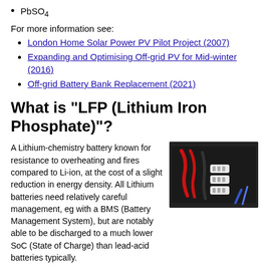PbSO4
For more information see:
London Home Solar Power PV Pilot Project (2007)
Expanding and Optimising Off-grid PV for Mid-winter (2016)
Off-grid Battery Bank Replacement (2021)
What is "LFP (Lithium Iron Phosphate)"?
A Lithium-chemistry battery known for resistance to overheating and fires compared to Li-ion, at the cost of a slight reduction in energy density. All Lithium batteries need relatively careful management, eg with a BMS (Battery Management System), but are notably able to be discharged to a much lower SoC (State of Charge) than lead-acid batteries typically.
[Figure (photo): Photo of a battery bank with red and black cables and white connectors mounted in a dark enclosure]
Also known as: